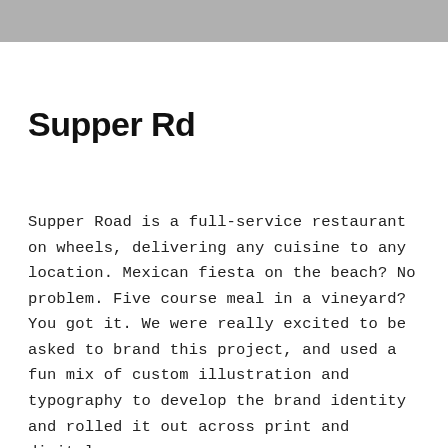[Figure (photo): Gray banner/header bar at top of page]
Supper Rd
Supper Road is a full-service restaurant on wheels, delivering any cuisine to any location. Mexican fiesta on the beach? No problem. Five course meal in a vineyard? You got it. We were really excited to be asked to brand this project, and used a fun mix of custom illustration and typography to develop the brand identity and rolled it out across print and digital.